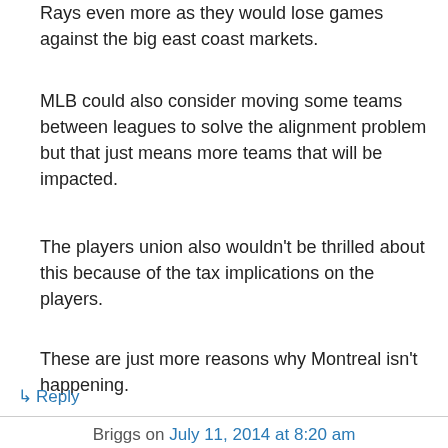Rays even more as they would lose games against the big east coast markets.
MLB could also consider moving some teams between leagues to solve the alignment problem but that just means more teams that will be impacted.
The players union also wouldn't be thrilled about this because of the tax implications on the players.
These are just more reasons why Montreal isn't happening.
↳ Reply
Briggs on July 11, 2014 at 8:20 am